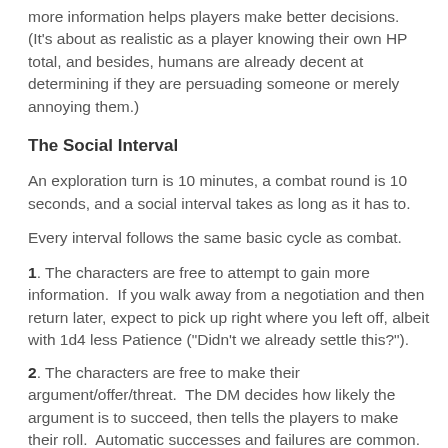more information helps players make better decisions. (It's about as realistic as a player knowing their own HP total, and besides, humans are already decent at determining if they are persuading someone or merely annoying them.)
The Social Interval
An exploration turn is 10 minutes, a combat round is 10 seconds, and a social interval takes as long as it has to.
Every interval follows the same basic cycle as combat.
1. The characters are free to attempt to gain more information. If you walk away from a negotiation and then return later, expect to pick up right where you left off, albeit with 1d4 less Patience ("Didn't we already settle this?").
2. The characters are free to make their argument/offer/threat. The DM decides how likely the argument is to succeed, then tells the players to make their roll. Automatic successes and failures are common. If the